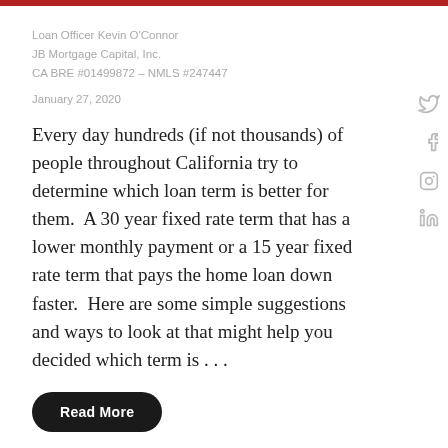Loan Officer Kevin O'Connor
JB Mortgage Capital, Inc.
CA BRE #01499872 – NMLS #247447
January 27, 2020
Every day hundreds (if not thousands) of people throughout California try to determine which loan term is better for them.  A 30 year fixed rate term that has a lower monthly payment or a 15 year fixed rate term that pays the home loan down faster.  Here are some simple suggestions and ways to look at that might help you decided which term is . . .
Read More